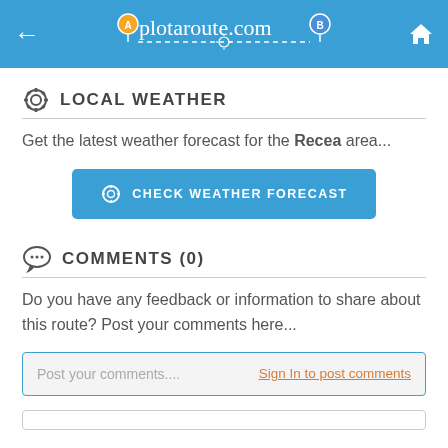plotaroute.com
LOCAL WEATHER
Get the latest weather forecast for the Recea area...
[Figure (other): Button: CHECK WEATHER FORECAST]
COMMENTS (0)
Do you have any feedback or information to share about this route? Post your comments here...
Post your comments....  Sign In to post comments